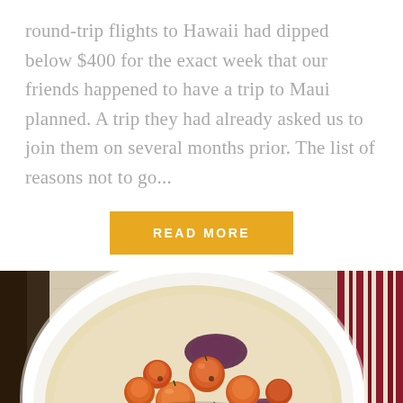round-trip flights to Hawaii had dipped below $400 for the exact week that our friends happened to have a trip to Maui planned. A trip they had already asked us to join them on several months prior. The list of reasons not to go...
READ MORE
[Figure (photo): Overhead view of a white bowl containing creamy corn soup topped with roasted cherry tomatoes (orange and red) and caramelized purple onions, placed on a red-patterned cloth napkin and linen surface.]